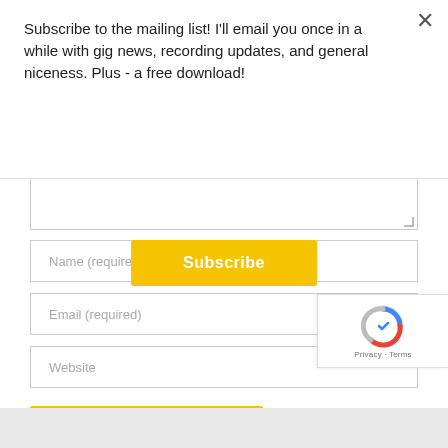Subscribe to the mailing list! I'll email you once in a while with gig news, recording updates, and general niceness. Plus - a free download!
Subscribe
Name (required)
Email (required)
Website
POST COMMENT